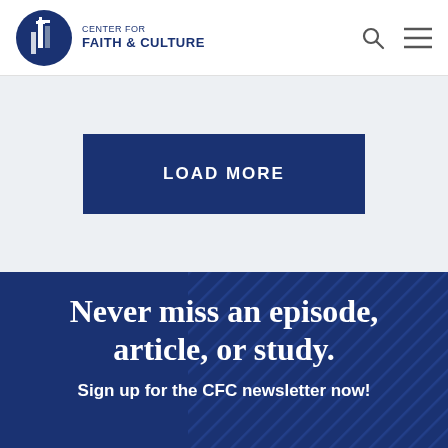CENTER FOR FAITH & CULTURE
LOAD MORE
Never miss an episode, article, or study.
Sign up for the CFC newsletter now!